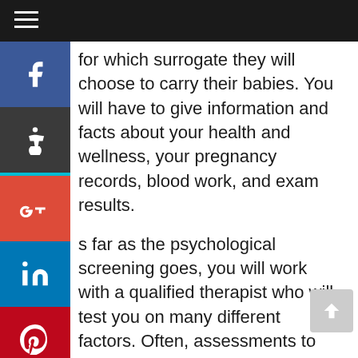for which surrogate they will choose to carry their babies. You will have to give information and facts about your health and wellness, your pregnancy records, blood work, and exam results.
As far as the psychological screening goes, you will work with a qualified therapist who will test you on many different factors. Often, assessments to become a surrogate in Estacada OR will first consist of an email exam and then a phone conversation. Frequently, that is enough for people to be able to tell that you can be a surrogate, but other times you will have to meet with the specialist to undertake some additional testing. The intention is to recognize whether you are of sound mind, have good intents, and do not have any mental hardship. Once again, the safety of everyone is so important.